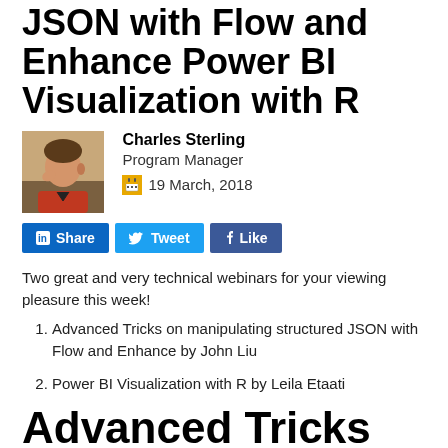JSON with Flow and Enhance Power BI Visualization with R
[Figure (photo): Photo of Charles Sterling, a man in an orange shirt]
Charles Sterling
Program Manager
19 March, 2018
[Figure (infographic): Social share buttons: LinkedIn Share, Twitter Tweet, Facebook Like]
Two great and very technical webinars for your viewing pleasure this week!
Advanced Tricks on manipulating structured JSON with Flow and Enhance by John Liu
Power BI Visualization with R by Leila Etaati
Advanced Tricks